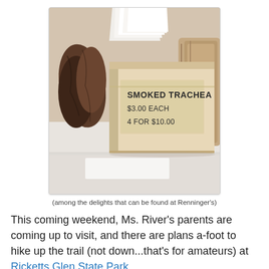[Figure (photo): A cardboard box with a printed sign reading 'SMOKED TRACHEA $3.00 EACH 4 FOR $10.00', surrounded by rolled/folded animal hides or leathers on a white surface.]
(among the delights that can be found at Renninger's)
This coming weekend, Ms. River's parents are coming up to visit, and there are plans a-foot to hike up the trail (not down...that's for amateurs) at Ricketts Glen State Park.